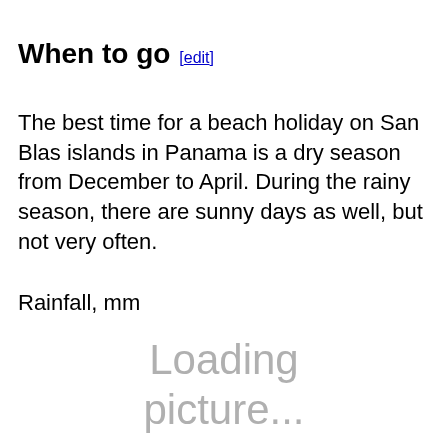When to go [edit]
The best time for a beach holiday on San Blas islands in Panama is a dry season from December to April. During the rainy season, there are sunny days as well, but not very often.
Rainfall, mm
[Figure (other): Loading picture... placeholder image for a rainfall chart]